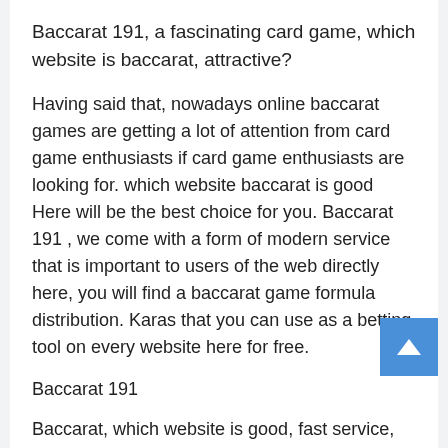Baccarat 191, a fascinating card game, which website is baccarat, attractive?
Having said that, nowadays online baccarat games are getting a lot of attention from card game enthusiasts if card game enthusiasts are looking for. which website baccarat is good Here will be the best choice for you. Baccarat 191 , we come with a form of modern service that is important to users of the web directly here, you will find a baccarat game formula distribution. Karas that you can use as a betting tool on every website here for free.
Baccarat 191
Baccarat, which website is good, fast service, no fraud, Baccarat 191 youlike191
If asked about problems with corruption within the website...